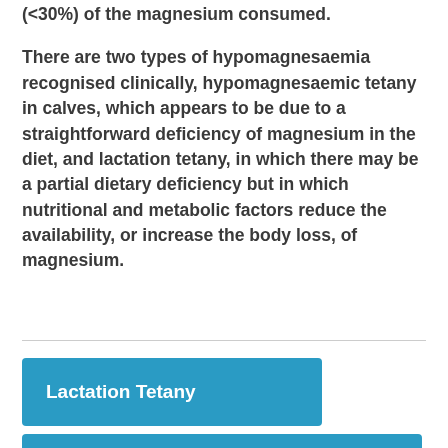(<30%) of the magnesium consumed.
There are two types of hypomagnesaemia recognised clinically, hypomagnesaemic tetany in calves, which appears to be due to a straightforward deficiency of magnesium in the diet, and lactation tetany, in which there may be a partial dietary deficiency but in which nutritional and metabolic factors reduce the availability, or increase the body loss, of magnesium.
Lactation Tetany
Hypomagnesaemic Tetany of Calves